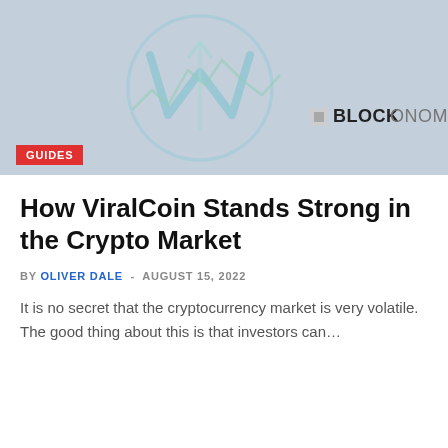[Figure (illustration): Hero banner image with dark crypto/blockchain graphic showing a stylized W/chart logo shape in teal/blue tones on grey background, with BLOCKONOMI text in the lower right area in white and black lettering. A red GUIDES badge overlays the bottom-left.]
How ViralCoin Stands Strong in the Crypto Market
BY OLIVER DALE - AUGUST 15, 2022
It is no secret that the cryptocurrency market is very volatile. The good thing about this is that investors can...